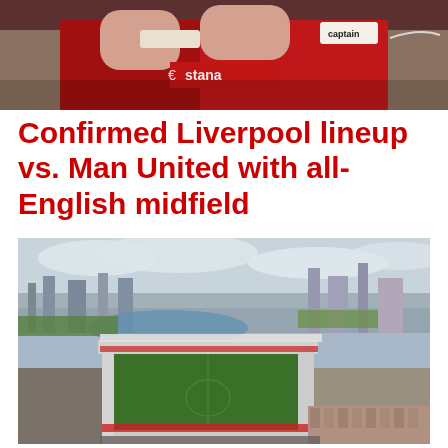[Figure (photo): Close-up photo of a Liverpool FC player in red jersey with 'Standa' sponsor visible, hands raised to face]
Confirmed Liverpool lineup vs. Man United with all-English midfield
[Figure (photo): Aerial photograph of Old Trafford stadium, Manchester, showing the stadium from above with the city skyline in the background]